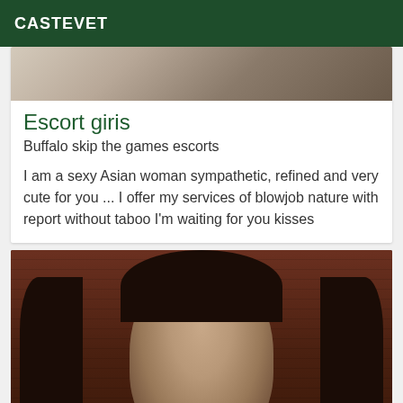CASTEVET
[Figure (photo): Partial photo strip at top of card, showing upper portion of a room background]
Escort giris
Buffalo skip the games escorts
I am a sexy Asian woman sympathetic, refined and very cute for you ... I offer my services of blowjob nature with report without taboo I'm waiting for you kisses
[Figure (photo): Photo of a dark-haired woman against a brick wall background with chains visible]